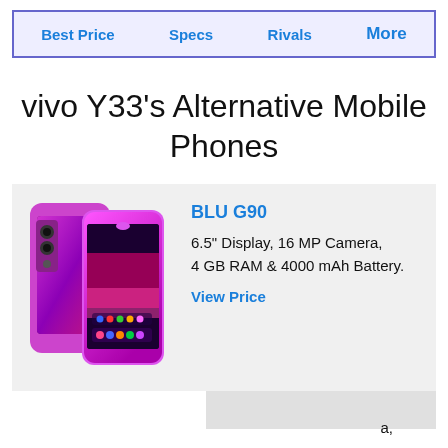Best Price  Specs  Rivals  More
vivo Y33's Alternative Mobile Phones
[Figure (photo): BLU G90 smartphone product image showing front and back of phone in purple/pink color]
BLU G90
6.5" Display, 16 MP Camera, 4 GB RAM & 4000 mAh Battery.
View Price
a,